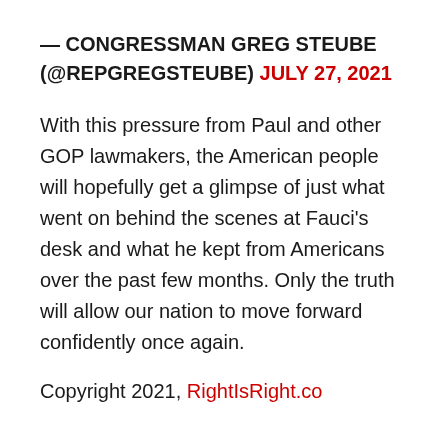— CONGRESSMAN GREG STEUBE (@REPGREGSTEUBE) JULY 27, 2021
With this pressure from Paul and other GOP lawmakers, the American people will hopefully get a glimpse of just what went on behind the scenes at Fauci's desk and what he kept from Americans over the past few months. Only the truth will allow our nation to move forward confidently once again.
Copyright 2021, RightIsRight.co